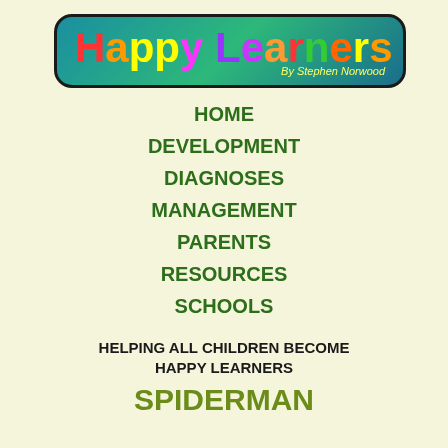[Figure (logo): Happy Learners logo with colorful text on teal/green gradient background with rounded border. Subtitle reads 'By Stephen Norwood']
HOME
DEVELOPMENT
DIAGNOSES
MANAGEMENT
PARENTS
RESOURCES
SCHOOLS
HELPING ALL CHILDREN BECOME HAPPY LEARNERS
SPIDERMAN